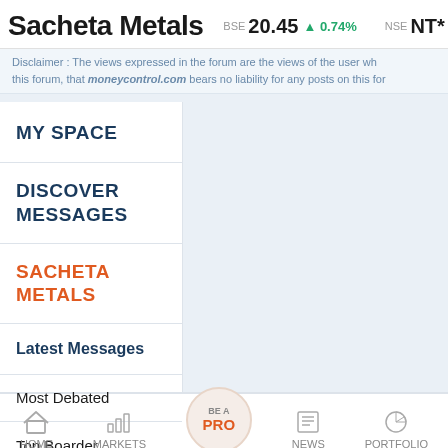Sacheta Metals BSE 20.45 ▲ 0.74% NSE NT*
Disclaimer : The views expressed in the forum are the views of the user who posted. moneycontrol.com bears no liability for any posts on this forum.
MY SPACE
DISCOVER MESSAGES
SACHETA METALS
Latest Messages
Most Debated
Top Boarder Messages
HOME MARKETS BE A PRO NEWS PORTFOLIO